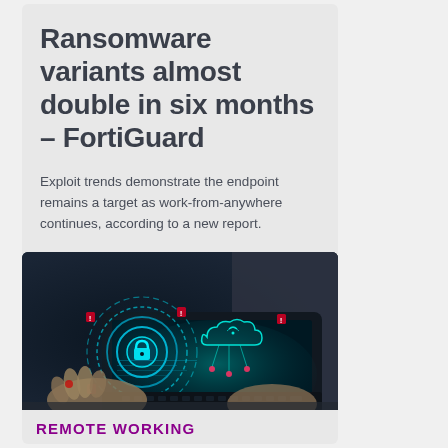Ransomware variants almost double in six months – FortiGuard
Exploit trends demonstrate the endpoint remains a target as work-from-anywhere continues, according to a new report.
[Figure (photo): A person's hands typing on a laptop. The screen shows a glowing teal/cyan cybersecurity holographic display with a padlock icon surrounded by circular rings, cloud icons with network connection symbols, and various security indicators with red warning icons.]
REMOTE WORKING